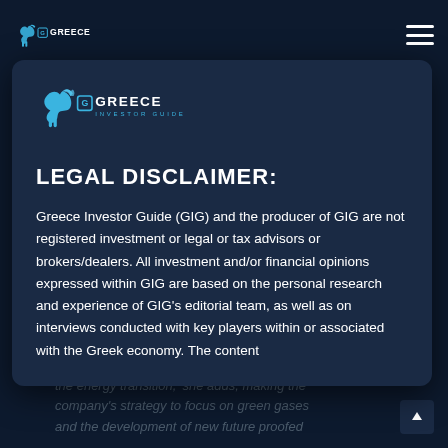Greece Investor Guide - navigation bar
Ready to Face the Energy...
[Figure (logo): Greece Investor Guide logo - large version inside modal]
LEGAL DISCLAIMER:
Greece Investor Guide (GIG) and the producer of GIG are not registered investment or legal or tax advisors or brokers/dealers. All investment and/or financial opinions expressed within GIG are based on the personal research and experience of GIG's editorial team, as well as on interviews conducted with key players within or associated with the Greek economy. The content
the energy transition,' she adds, making the company's strategy to focus on green gases and the development of new future proofed